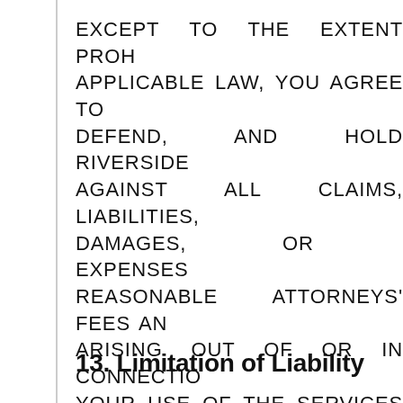EXCEPT TO THE EXTENT PROHIBITED BY APPLICABLE LAW, YOU AGREE TO INDEMNIFY, DEFEND, AND HOLD RIVERSIDE HARMLESS AGAINST ALL CLAIMS, LIABILITIES, DAMAGES, OR EXPENSES (INCLUDING REASONABLE ATTORNEYS' FEES AND COSTS) ARISING OUT OF OR IN CONNECTION WITH (I) YOUR USE OF THE SERVICES COVERED BY THESE TERMS AND/OR (II) YOUR FAILURE TO COMPLY WITH THESE TERMS.
13. Limitation of Liability